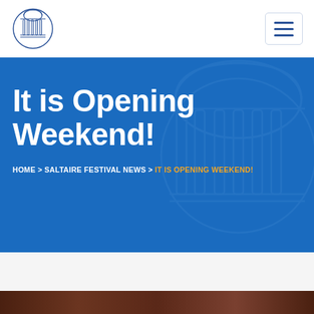[Figure (logo): Saltaire village gazebo/dome logo, circular line drawing]
[Figure (other): Hamburger menu button with three horizontal lines]
It is Opening Weekend!
HOME > SALTAIRE FESTIVAL NEWS > IT IS OPENING WEEKEND!
[Figure (photo): Bottom strip showing partial photo, dark brownish tones]